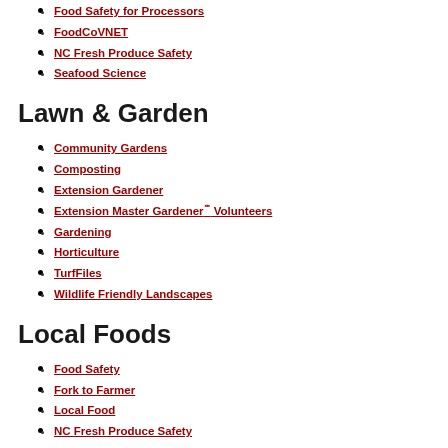Food Safety for Processors
FoodCoVNET
NC Fresh Produce Safety
Seafood Science
Lawn & Garden
Community Gardens
Composting
Extension Gardener
Extension Master Gardener℠ Volunteers
Gardening
Horticulture
TurfFiles
Wildlife Friendly Landscapes
Local Foods
Food Safety
Fork to Farmer
Local Food
NC Fresh Produce Safety